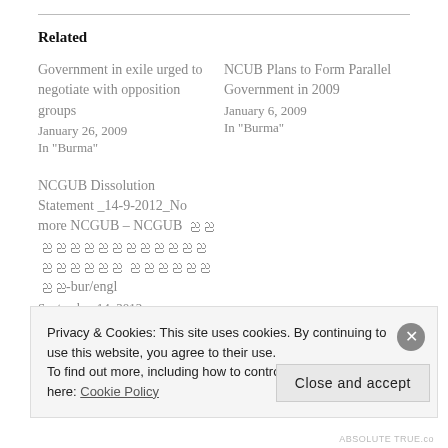Related
Government in exile urged to negotiate with opposition groups
January 26, 2009
In "Burma"
NCUB Plans to Form Parallel Government in 2009
January 6, 2009
In "Burma"
NCGUB Dissolution Statement _14-9-2012_No more NCGUB – NCGUB ညညညညညညညညညညညညညညညညညညညည ညညညညညညညည-bur/engl
September 14, 2012
In "Burma"
Privacy & Cookies: This site uses cookies. By continuing to use this website, you agree to their use.
To find out more, including how to control cookies, see here: Cookie Policy
Close and accept